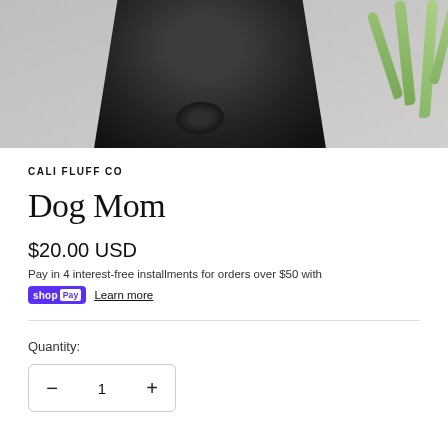[Figure (photo): Product photo showing a dark black fluffy robe or fabric tied in the center, with green plant leaves visible on the right side, against a light grey/white background.]
CALI FLUFF CO
Dog Mom
$20.00 USD
Pay in 4 interest-free installments for orders over $50 with
shop Pay  Learn more
Quantity:
— 1 +